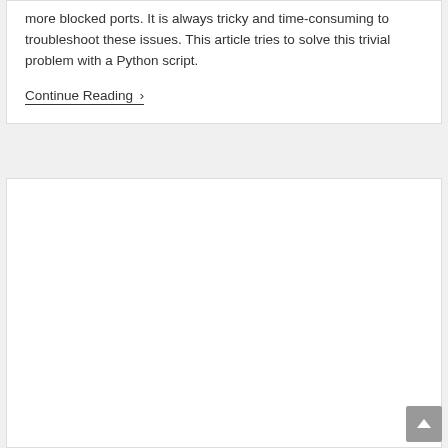more blocked ports. It is always tricky and time-consuming to troubleshoot these issues. This article tries to solve this trivial problem with a Python script.
Continue Reading ›
[Figure (other): Empty white content card/box below the article excerpt]